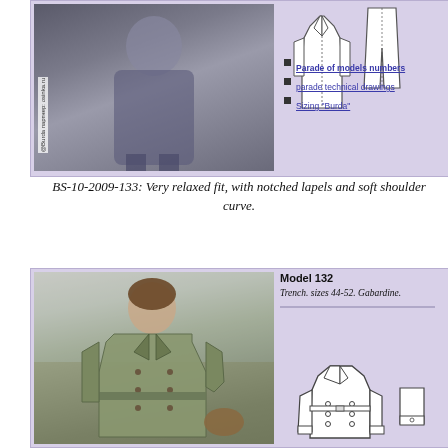[Figure (photo): Fashion photo of person in long gray coat walking, viewed from front, outdoor street scene. Watermark: @Burda партнер: osinka.ru]
[Figure (illustration): Technical fashion drawing of a long coat with notched lapels and matching trousers, front and back/side views]
Parade of models numbers
parade technical drawings
Sizing "Burda"
BS-10-2009-133: Very relaxed fit, with notched lapels and soft shoulder curve.
[Figure (photo): Fashion photo of smiling woman wearing olive/khaki trench coat with double-breasted buttons and belt, outdoors near a beach/rocky shore]
Model 132
Trench. sizes 44-52. Gabardine.
[Figure (illustration): Technical fashion drawing of Model 132 trench coat, showing front view with double-breasted buttons, collar, and cuffs detail]